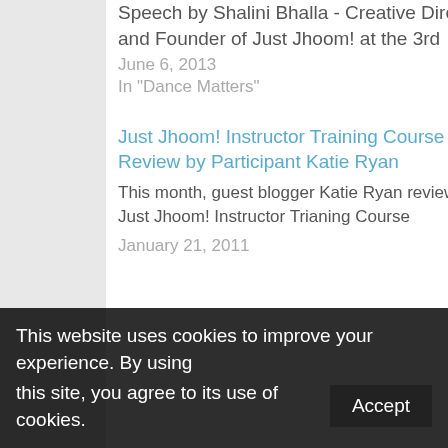Speech by Shalini Bhalla - Creative Director and Founder of Just Jhoom! at the 3rd
June 6, 2013
In "Dance Matters"
[Figure (logo): Just Jhoom! Teach Bollywood Dance logo in red cursive script]
Why I created the Teach Bollywood Dance! online course.
July 27, 2016
In "Dance Matters"
Just Jhoom! Instructor Training Course Review by Participant Katie Ryan
This month, guest blogger Katie Ryan reviews the Just Jhoom! Instructor Trianing Course
January 21, 2011
This website uses cookies to improve your experience. By using this site, you agree to its use of cookies.